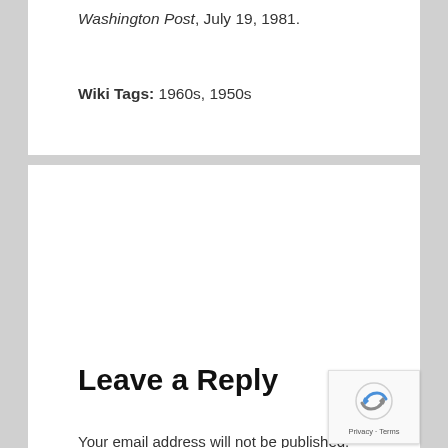Washington Post, July 19, 1981.
Wiki Tags: 1960s, 1950s
Leave a Reply
Your email address will not be published. Required fields are marked *
Comment *